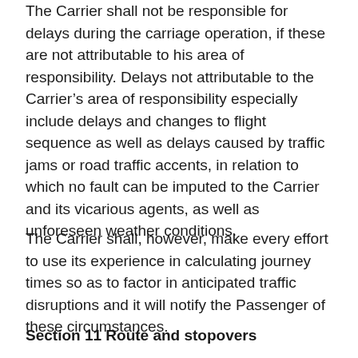The Carrier shall not be responsible for delays during the carriage operation, if these are not attributable to his area of responsibility. Delays not attributable to the Carrier's area of responsibility especially include delays and changes to flight sequence as well as delays caused by traffic jams or road traffic accents, in relation to which no fault can be imputed to the Carrier and its vicarious agents, as well as unforeseen weather conditions.
The Carrier shall, however, make every effort to use its experience in calculating journey times so as to factor in anticipated traffic disruptions and it will notify the Passenger of these circumstances.
Section 11 Route and stopovers